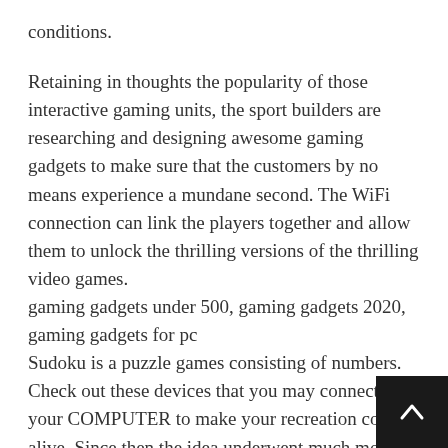conditions.
Retaining in thoughts the popularity of those interactive gaming units, the sport builders are researching and designing awesome gaming gadgets to make sure that the customers by no means experience a mundane second. The WiFi connection can link the players together and allow them to unlock the thrilling versions of the thrilling video games.
gaming gadgets under 500, gaming gadgets 2020, gaming gadgets for pc
Sudoku is a puzzle games consisting of numbers. Check out these devices that you may connect to your COMPUTER to make your recreation come alive. Since then the idea underwent much more modificatio incorporate broad platforms like hand-held game